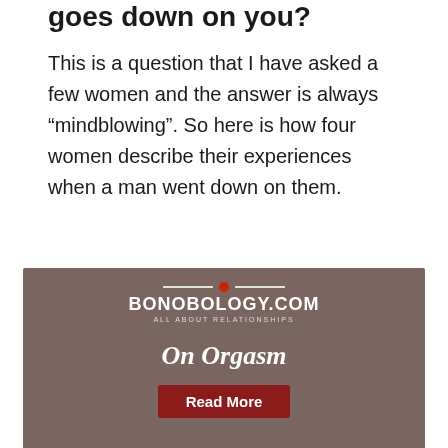goes down on you?
This is a question that I have asked a few women and the answer is always “mindblowing”. So here is how four women describe their experiences when a man went down on them.
[Figure (infographic): Bonobology.com advertisement banner with logo, red dot, tagline 'ALL ABOUT RELATIONSHIPS', heading 'On Orgasm', and a red 'Read More' button, over a blurred intimate background image.]